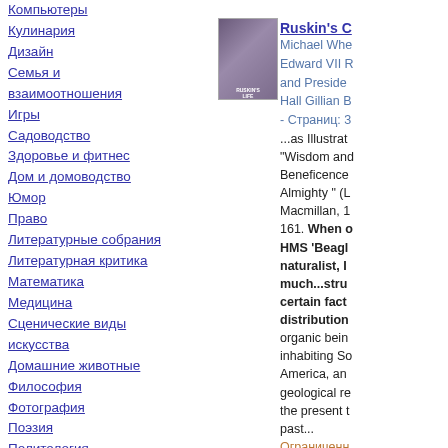Компьютеры
Кулинария
Дизайн
Семья и взаимоотношения
Игры
Садоводство
Здоровье и фитнес
Дом и домоводство
Юмор
Право
Литературные собрания
Литературная критика
Математика
Медицина
Сценические виды искусства
Домашние животные
Философия
Фотография
Поэзия
Политология
Психология
[Figure (photo): Book cover thumbnail for Ruskin's C]
Ruskin's C
Michael Whe Edward VII R and Preside Hall Gillian B - Страниц: 3
...as Illustrat "Wisdom and Beneficence Almighty " (L Macmillan, 1 161. When o HMS 'Beagl naturalist, I much...stru certain fact distribution organic bein inhabiting So America, an geological re the present t past...
Ограниченн просмотр - Н